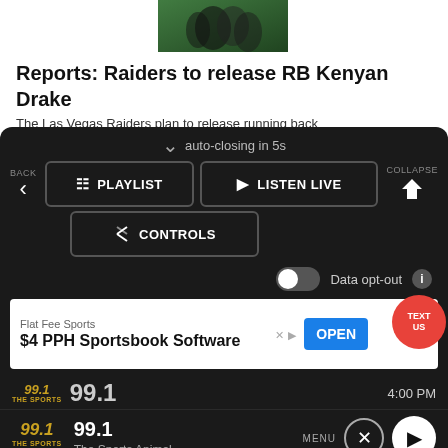[Figure (photo): Sports photo showing football players in green uniforms]
Reports: Raiders to release RB Kenyan Drake
The Las Vegas Raiders plan to release running back
[Figure (screenshot): Dark overlay panel with auto-closing in 5s, PLAYLIST, LISTEN LIVE, CONTROLS buttons, Data opt-out toggle, ad banner for Flat Fee Sports $4 PPH Sportsbook Software with OPEN button, TEXT US bubble]
[Figure (screenshot): Bottom bar showing 99.1 The Sports Animal station with 4:00 PM time, player controls with close and play buttons, MENU label]